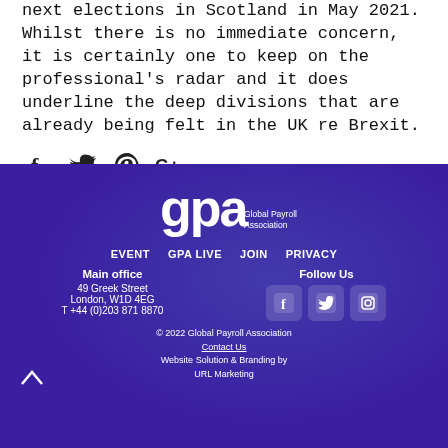next elections in Scotland in May 2021. Whilst there is no immediate concern, it is certainly one to keep on the professional's radar and it does underline the deep divisions that are already being felt in the UK re Brexit.
[Figure (other): Social media sharing icons: Facebook, Twitter, Pinterest, Google+]
[Figure (logo): GPA - Global Payroll Association logo in white on dark purple background]
EVENT    GPA LIVE    JOIN    PRIVACY
Main office
49 Greek Street
London, W1D 4EG
T +44 (0)203 871 8870
Follow Us
[Figure (other): Footer social media icons: Facebook, Twitter, Instagram]
© 2022 Global Payroll Association
Contact Us
Website Solution & Branding by
URL Marketing